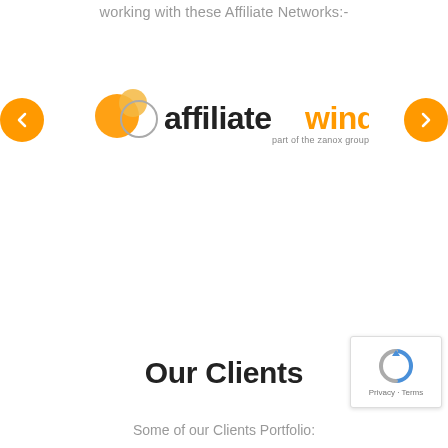working with these Affiliate Networks:-
[Figure (logo): Affiliate Window logo — part of the zanox group — with overlapping orange and grey circle graphic, black 'affiliate' text and orange 'window' text]
Our Clients
Some of our Clients Portfolio: